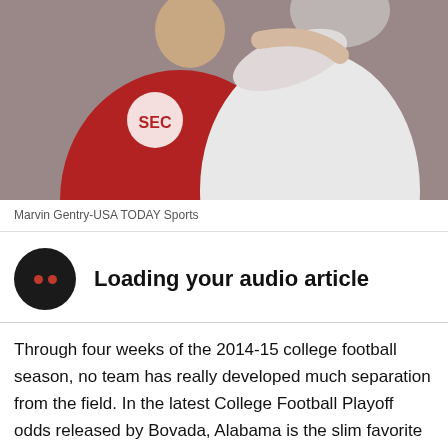[Figure (photo): Two football players, one in a red Alabama SEC jersey and one in white, close together in an embrace or conversation on the field.]
Marvin Gentry-USA TODAY Sports
[Figure (infographic): Loading your audio article icon — black circle with two red dots, beside bold text 'Loading your audio article']
Through four weeks of the 2014-15 college football season, no team has really developed much separation from the field. In the latest College Football Playoff odds released by Bovada, Alabama is the slim favorite at 13/2, slightly ahead of Auburn, Florida State and Oklahoma all at 15/2.